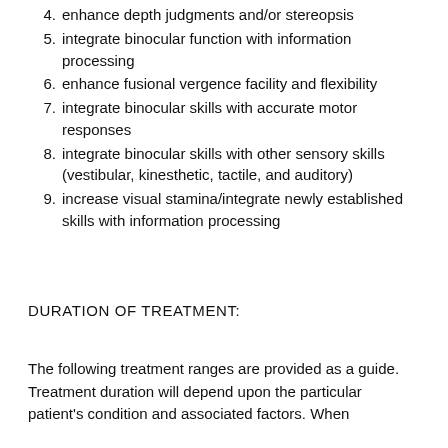4. enhance depth judgments and/or stereopsis
5. integrate binocular function with information processing
6. enhance fusional vergence facility and flexibility
7. integrate binocular skills with accurate motor responses
8. integrate binocular skills with other sensory skills (vestibular, kinesthetic, tactile, and auditory)
9. increase visual stamina/integrate newly established skills with information processing
DURATION OF TREATMENT:
The following treatment ranges are provided as a guide. Treatment duration will depend upon the particular patient's condition and associated factors. When